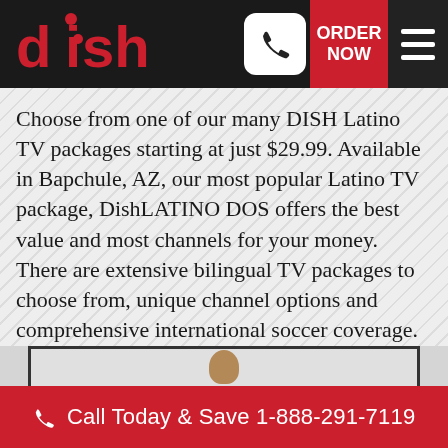dish | ORDER NOW | [phone icon] | [menu icon]
Choose from one of our many DISH Latino TV packages starting at just $29.99. Available in Bapchule, AZ, our most popular Latino TV package, DishLATINO DOS offers the best value and most channels for your money. There are extensive bilingual TV packages to choose from, unique channel options and comprehensive international soccer coverage. DishLATINO is the leader in quality Latino satellite TV programming.
[Figure (photo): A person viewed from behind sitting in front of a large television screen, silhouetted against a bright background.]
Call Today & Save 1-888-291-7119